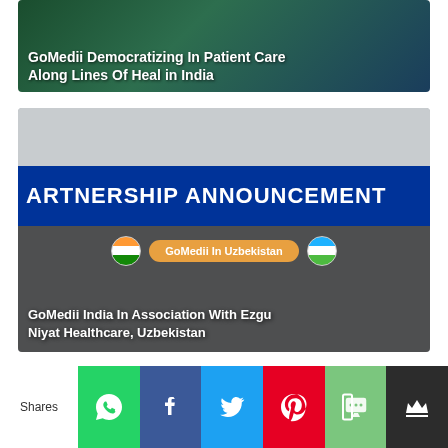[Figure (photo): Article card with dark green background showing text about GoMedii Democratizing In Patient Care Along Lines Of Heal in India]
[Figure (photo): Partnership announcement banner - GoMedii India In Association With Ezgu Niyat Healthcare, Uzbekistan. Shows blue banner with 'ARTNERSHIP ANNOUNCEMENT' text, pill badge 'GoMedii In Uzbekistan' with Indian and Uzbekistan flags.]
[Figure (photo): Partially visible third article card with blue/teal background]
Shares
[Figure (infographic): Social share bar with WhatsApp, Facebook, Twitter, Pinterest, SMS, and crown icons]